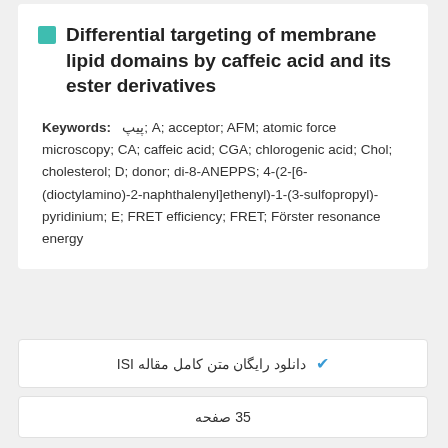Differential targeting of membrane lipid domains by caffeic acid and its ester derivatives
Keywords: پیپ; A; acceptor; AFM; atomic force microscopy; CA; caffeic acid; CGA; chlorogenic acid; Chol; cholesterol; D; donor; di-8-ANEPPS; 4-(2-[6-(dioctylamino)-2-naphthalenyl]ethenyl)-1-(3-sulfopropyl)-pyridinium; E; FRET efficiency; FRET; Förster resonance energy
دانلود رایگان متن کامل مقاله ISI
35 صفحه